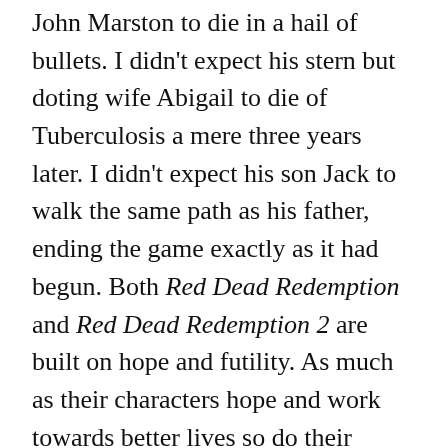John Marston to die in a hail of bullets. I didn't expect his stern but doting wife Abigail to die of Tuberculosis a mere three years later. I didn't expect his son Jack to walk the same path as his father, ending the game exactly as it had begun. Both Red Dead Redemption and Red Dead Redemption 2 are built on hope and futility. As much as their characters hope and work towards better lives so do their current lives as outlaws and gunslingers erode their chances of ever reaching their dreams.
I'm someone that always sees the glass half full in terms of storytelling. Maybe it's the fact that at first – like most of us – I was raised on movies